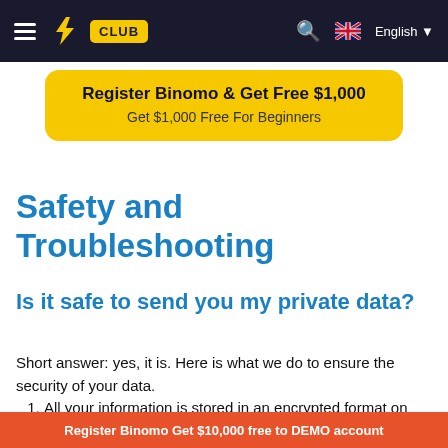≡ ⚡ CLUB  🔍  🇬🇧 English ▼
[Figure (infographic): Yellow rounded banner with text: Register Binomo & Get Free $1,000 / Get $1,000 Free For Beginners]
Safety and Troubleshooting
Is it safe to send you my private data?
Short answer: yes, it is. Here is what we do to ensure the security of your data.
All your information is stored in an encrypted format on servers. These servers are kept at data centers compliant
Register Binomo Get $10,000 free to DEMO account